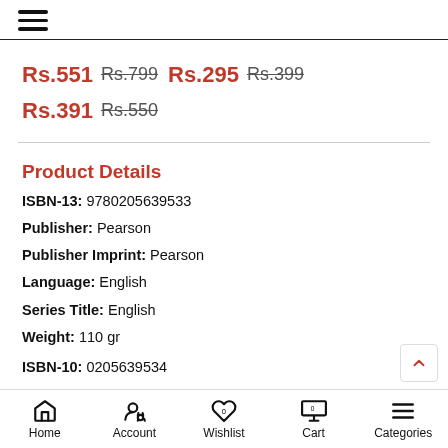≡ (hamburger menu)
Rs.551 Rs.799   Rs.295 Rs.399   Rs.391 Rs.550
Product Details
ISBN-13: 9780205639533
Publisher: Pearson
Publisher Imprint: Pearson
Language: English
Series Title: English
Weight: 110 gr
ISBN-10: 0205639534
Home  Account  Wishlist  Cart  Categories